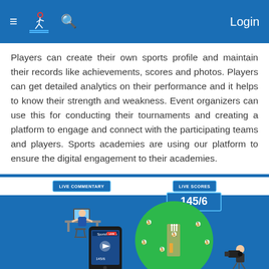≡ [logo] 🔍   Login
Players can create their own sports profile and maintain their records like achievements, scores and photos. Players can get detailed analytics on their performance and it helps to know their strength and weakness. Event organizers can use this for conducting their tournaments and creating a platform to engage and connect with the participating teams and players. Sports academies are using our platform to ensure the digital engagement to their academies.
[Figure (illustration): Sports platform app illustration showing a person at a desk with 'LIVE COMMENTARY' badge, a smartphone displaying a live cricket match screen, a green cricket field circle with fielder icons, a 'LIVE SCORES' badge showing '145/6', and a camera operator at bottom right.]